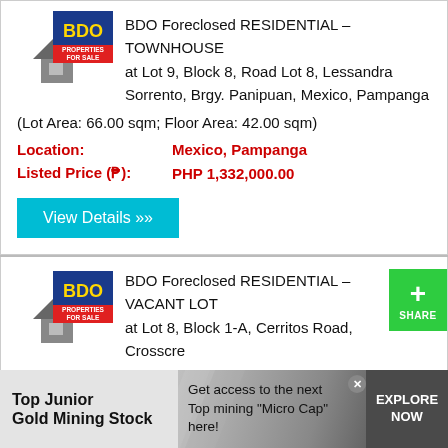[Figure (logo): BDO Properties For Sale logo with house icon]
BDO Foreclosed RESIDENTIAL – TOWNHOUSE at Lot 9, Block 8, Road Lot 8, Lessandra Sorrento, Brgy. Panipuan, Mexico, Pampanga
(Lot Area: 66.00 sqm; Floor Area: 42.00 sqm)
Location: Mexico, Pampanga
Listed Price (₱): PHP 1,332,000.00
View Details »»
[Figure (logo): BDO Properties For Sale logo with house icon]
BDO Foreclosed RESIDENTIAL – VACANT LOT at Lot 8, Block 1-A, Cerritos Road, Crosscreek Subdivision, The Lakeshore, Brgy. Divisoria, Mexico, Pampanga (Lot Area: 240.00 sqm)
[Figure (infographic): Advertisement banner: Top Junior Gold Mining Stock – Get access to the next Top mining 'Micro Cap' here! EXPLORE NOW]